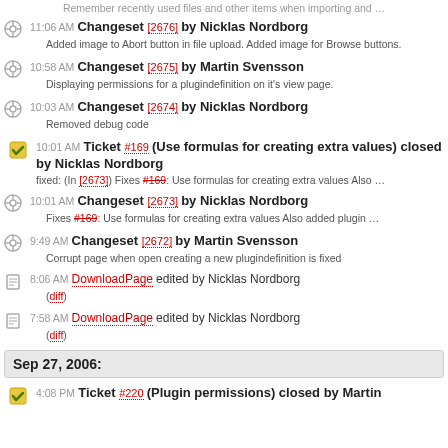Remember recently used files and other items when importing and …
11:06 AM Changeset [2676] by Nicklas Nordborg — Added image to Abort button in file upload. Added image for Browse buttons.
10:58 AM Changeset [2675] by Martin Svensson — Displaying permissions for a plugindefinition on it's view page.
10:03 AM Changeset [2674] by Nicklas Nordborg — Removed debug code
10:01 AM Ticket #169 (Use formulas for creating extra values) closed by Nicklas Nordborg — fixed: (In [2673]) Fixes #169: Use formulas for creating extra values Also …
10:01 AM Changeset [2673] by Nicklas Nordborg — Fixes #169: Use formulas for creating extra values Also added plugin …
9:49 AM Changeset [2672] by Martin Svensson — Corrupt page when open creating a new plugindefinition is fixed
8:06 AM DownloadPage edited by Nicklas Nordborg (diff)
7:58 AM DownloadPage edited by Nicklas Nordborg (diff)
Sep 27, 2006:
4:08 PM Ticket #220 (Plugin permissions) closed by Martin